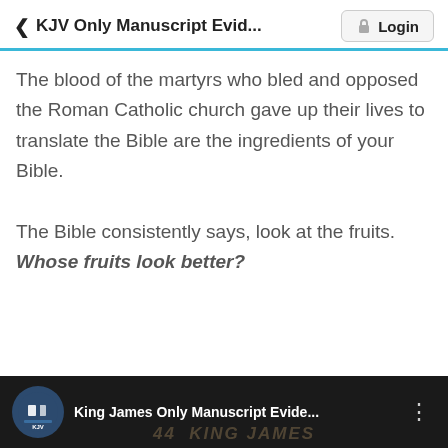< KJV Only Manuscript Evid...   Login
The blood of the martyrs who bled and opposed the Roman Catholic church gave up their lives to translate the Bible are the ingredients of your Bible.

The Bible consistently says, look at the fruits. Whose fruits look better?
[Figure (screenshot): Dark video thumbnail bar showing KJV logo circle icon and text 'King James Only Manuscript Evide...' with three-dot menu icon and watermark text '44 KING JAMES']